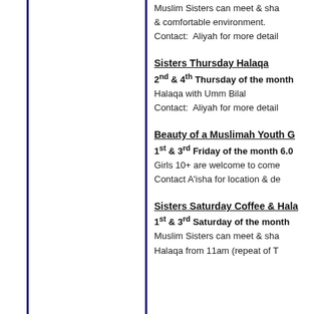Muslim Sisters can meet & sha... & comfortable environment.
Contact:  Aliyah for more detail
Sisters Thursday Halaqa
2nd & 4th Thursday of the month
Halaqa with Umm Bilal
Contact:  Aliyah for more detail
Beauty of a Muslimah Youth G
1st & 3rd Friday of the month 6.0
Girls 10+ are welcome to come
Contact A'isha for location & de
Sisters Saturday Coffee & Hala
1st & 3rd Saturday of the month
Muslim Sisters can meet & sha
Halaqa from 11am (repeat of T